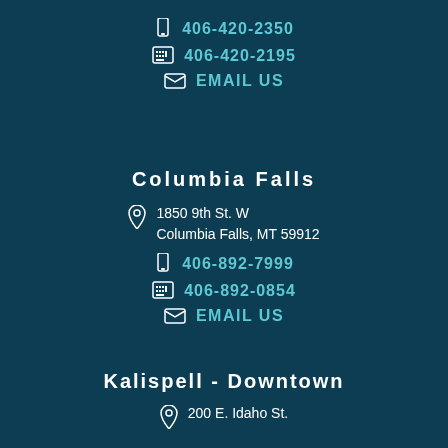406-420-2350
406-420-2195
EMAIL US
Columbia Falls
1850 9th St. W
Columbia Falls, MT 59912
406-892-7999
406-892-0854
EMAIL US
Kalispell - Downtown
200 E. Idaho St.